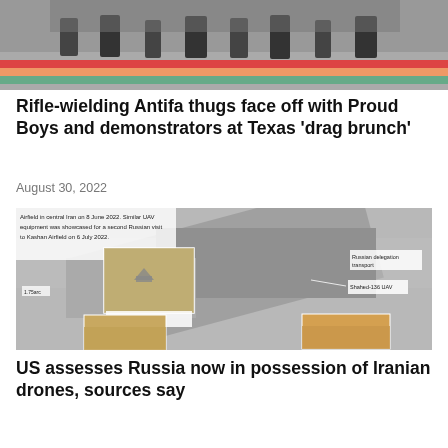[Figure (photo): Top portion of a photo showing people standing in front of large letters, with a colorful paved ground area visible.]
Rifle-wielding Antifa thugs face off with Proud Boys and demonstrators at Texas 'drag brunch'
August 30, 2022
[Figure (photo): Satellite/aerial imagery showing an airfield in central Iran on 8 June 2022, with annotated labels pointing to Shahed-101 UAV in storage area, Shahed-131 UAV, Shahed-136 UAV, Shahed-123 UAV, Russian delegation transport, and a note that similar UAV equipment was showcased for a second Russian visit to Kashan Airfield on 6 July 2022. Inset ground-level photos of Shahed-131 and Shahed-123 UAVs are included.]
US assesses Russia now in possession of Iranian drones, sources say